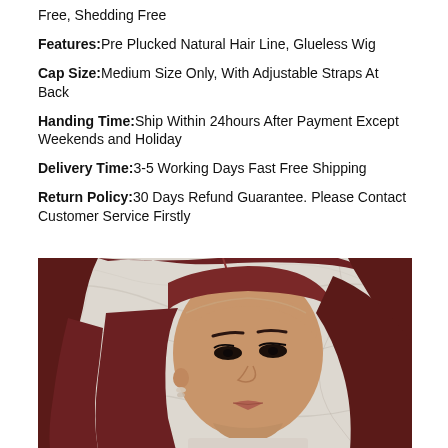Free, Shedding Free
Features: Pre Plucked Natural Hair Line, Glueless Wig
Cap Size: Medium Size Only, With Adjustable Straps At Back
Handing Time: Ship Within 24hours After Payment Except Weekends and Holiday
Delivery Time: 3-5 Working Days Fast Free Shipping
Return Policy: 30 Days Refund Guarantee. Please Contact Customer Service Firstly
[Figure (photo): Woman wearing a dark red/burgundy straight lace front wig, posed in front of a white marble background. The wig has a natural hairline. The model is looking slightly downward.]